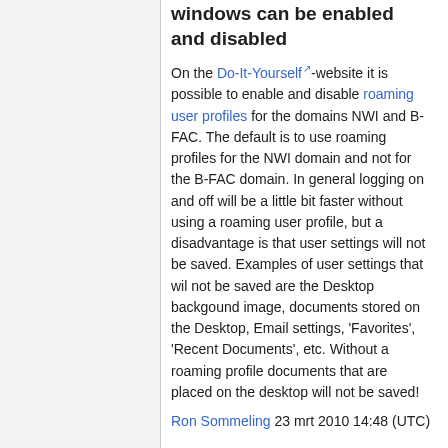...windows can be enabled and disabled
On the Do-It-Yourself-website it is possible to enable and disable roaming user profiles for the domains NWI and B-FAC. The default is to use roaming profiles for the NWI domain and not for the B-FAC domain. In general logging on and off will be a little bit faster without using a roaming user profile, but a disadvantage is that user settings will not be saved. Examples of user settings that wil not be saved are the Desktop backgound image, documents stored on the Desktop, Email settings, 'Favorites', 'Recent Documents', etc. Without a roaming profile documents that are placed on the desktop will not be saved!
Ron Sommeling 23 mrt 2010 14:48 (UTC)